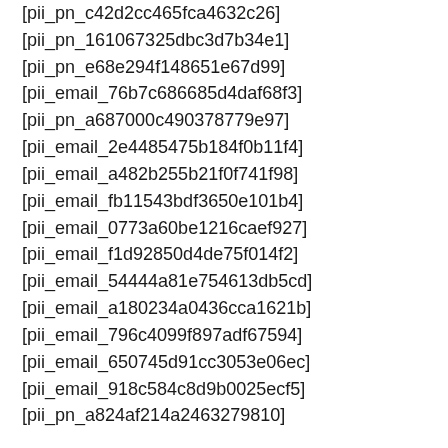[pii_pn_c42d2cc465fca4632c26]
[pii_pn_161067325dbc3d7b34e1]
[pii_pn_e68e294f148651e67d99]
[pii_email_76b7c686685d4daf68f3]
[pii_pn_a687000c490378779e97]
[pii_email_2e4485475b184f0b11f4]
[pii_email_a482b255b21f0f741f98]
[pii_email_fb11543bdf3650e101b4]
[pii_email_0773a60be1216caef927]
[pii_email_f1d92850d4de75f014f2]
[pii_email_54444a81e754613db5cd]
[pii_email_a180234a0436cca1621b]
[pii_email_796c4099f897adf67594]
[pii_email_650745d91cc3053e06ec]
[pii_email_918c584c8d9b0025ecf5]
[pii_pn_a824af214a2463279810]